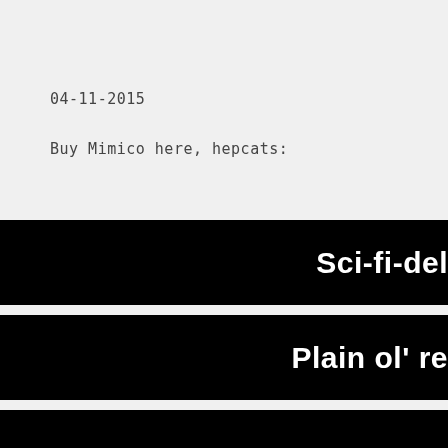04-11-2015
Buy Mimico here, hepcats:
Sci-fi-del
Plain ol' re
[Figure (other): Black banner strip at bottom, partially visible]